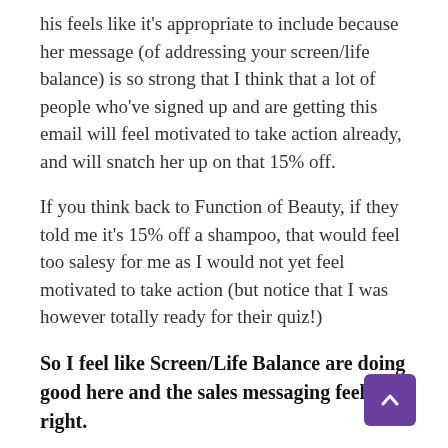his feels like it's appropriate to include because her message (of addressing your screen/life balance) is so strong that I think that a lot of people who've signed up and are getting this email will feel motivated to take action already, and will snatch her up on that 15% off.
If you think back to Function of Beauty, if they told me it's 15% off a shampoo, that would feel too salesy for me as I would not yet feel motivated to take action (but notice that I was however totally ready for their quiz!)
So I feel like Screen/Life Balance are doing good here and the sales messaging feels right.
The order of the buttons feels a *little* clunky - I